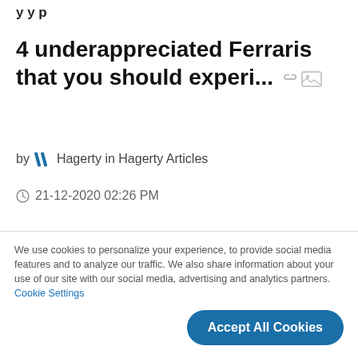4 underappreciated Ferraris that you should experi...
by Hagerty in Hagerty Articles
21-12-2020 02:26 PM
Being labeled an underdog has its advantages, even when a vehicle is graced with the Ferrari badge. One blip of the gas pedal le... View more
We use cookies to personalize your experience, to provide social media features and to analyze our traffic. We also share information about your use of our site with our social media, advertising and analytics partners. Cookie Settings
Accept All Cookies